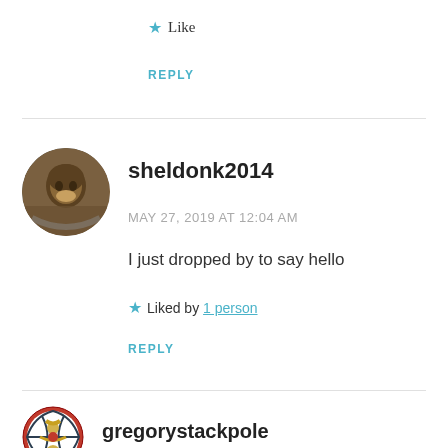★ Like
REPLY
[Figure (photo): Circular avatar photo of user sheldonk2014]
sheldonk2014
MAY 27, 2019 AT 12:04 AM
I just dropped by to say hello
★ Liked by 1 person
REPLY
[Figure (logo): Circular avatar/logo for user gregorystackpole]
gregorystackpole